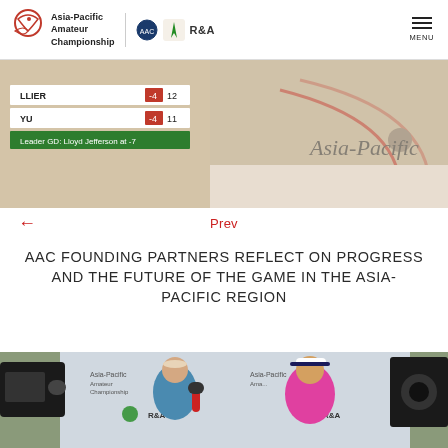Asia-Pacific Amateur Championship | AAC | R&A | MENU
[Figure (photo): Leaderboard scoreboard showing players LLIER and YU at -4, with Asia-Pacific Amateur Championship branding visible in the background]
← Prev
AAC FOUNDING PARTNERS REFLECT ON PROGRESS AND THE FUTURE OF THE GAME IN THE ASIA-PACIFIC REGION
[Figure (photo): Interview scene with a female reporter holding a red microphone interviewing a young male golfer in a pink Nike polo and white cap, Asia-Pacific Amateur Championship backdrop with R&A logos visible, camera equipment on the left]